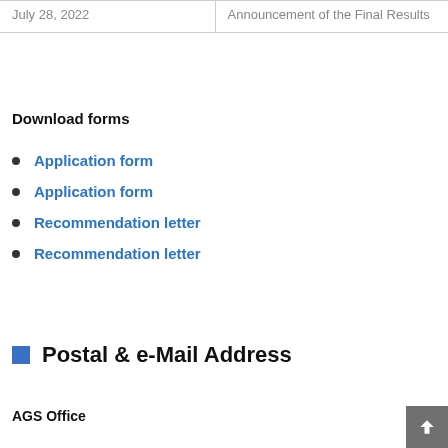|  |  |
| --- | --- |
| July 28, 2022 | Announcement of the Final Results |
Download forms
Application form
Application form
Recommendation letter
Recommendation letter
Postal & e-Mail Address
AGS Office